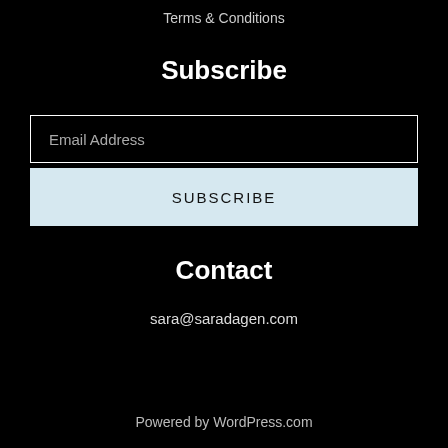Terms & Conditions
Subscribe
Email Address
SUBSCRIBE
Contact
sara@saradagen.com
Powered by WordPress.com